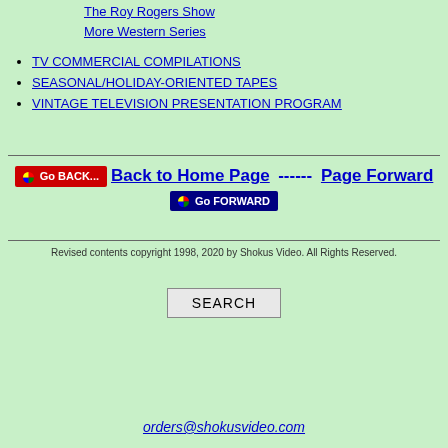The Roy Rogers Show
More Western Series
TV COMMERCIAL COMPILATIONS
SEASONAL/HOLIDAY-ORIENTED TAPES
VINTAGE TELEVISION PRESENTATION PROGRAM
Back to Home Page ------ Page Forward
Revised contents copyright 1998, 2020 by Shokus Video. All Rights Reserved.
SEARCH
orders@shokusvideo.com